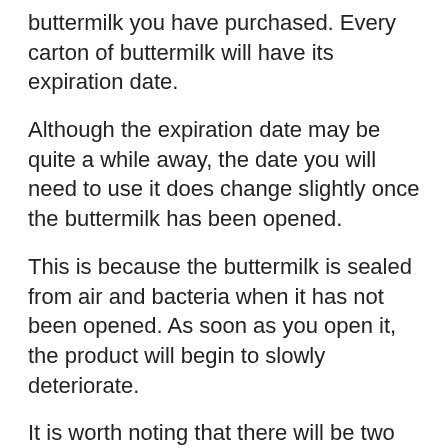buttermilk you have purchased. Every carton of buttermilk will have its expiration date.
Although the expiration date may be quite a while away, the date you will need to use it does change slightly once the buttermilk has been opened.
This is because the buttermilk is sealed from air and bacteria when it has not been opened. As soon as you open it, the product will begin to slowly deteriorate.
It is worth noting that there will be two different dates on the majority of buttermilk cartons. These two dates are the sell-by date and the expiry date.
The sell-by date is when the store will need to sell it by. This date is typically shorter than the expiry date. The expiry date is when you will need to use the product by.